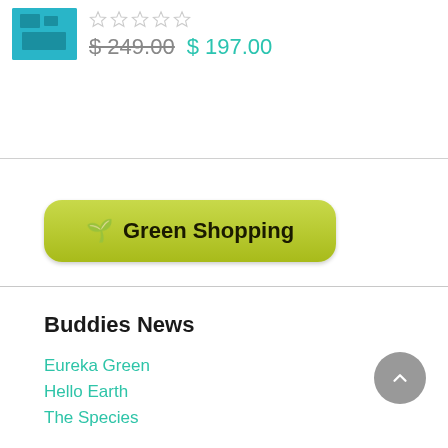[Figure (photo): Product thumbnail image with cyan/teal background]
$ 249.00  $ 197.00
[Figure (other): Green Shopping button with seedling icon]
Buddies News
Eureka Green
Hello Earth
The Species
Let's Do This